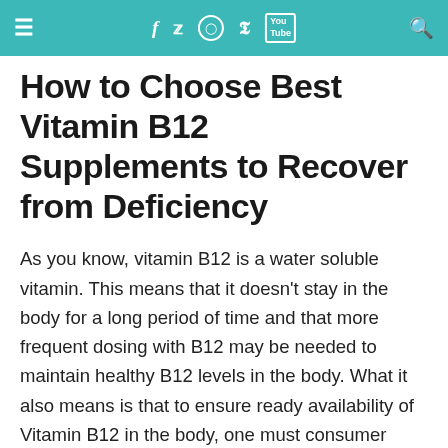≡  f  🐦  ⬡  P  You Tube  🔍
How to Choose Best Vitamin B12 Supplements to Recover from Deficiency
As you know, vitamin B12 is a water soluble vitamin. This means that it doesn't stay in the body for a long period of time and that more frequent dosing with B12 may be needed to maintain healthy B12 levels in the body. What it also means is that to ensure ready availability of Vitamin B12 in the body, one must consumer good quality Vitamin